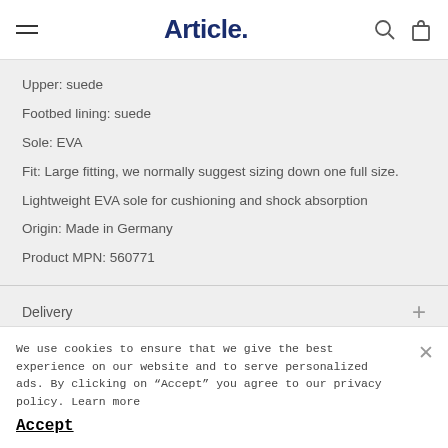Article.
Upper: suede
Footbed lining: suede
Sole: EVA
Fit: Large fitting, we normally suggest sizing down one full size.
Lightweight EVA sole for cushioning and shock absorption
Origin: Made in Germany
Product MPN: 560771
Delivery
Returns & Exchanges
We use cookies to ensure that we give the best experience on our website and to serve personalized ads. By clicking on "Accept" you agree to our privacy policy. Learn more
Accept